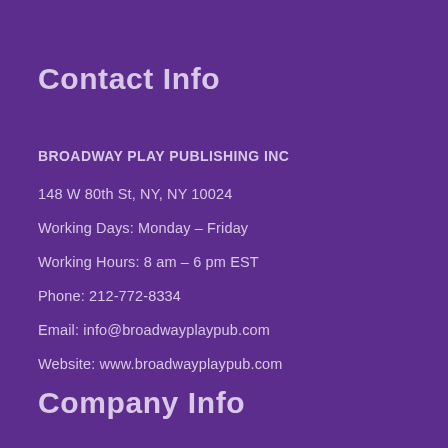Contact Info
BROADWAY PLAY PUBLISHING INC
148 W 80th St, NY, NY 10024
Working Days: Monday – Friday
Working Hours: 8 am – 6 pm EST
Phone: 212-772-8334
Email: info@broadwayplaypub.com
Website: www.broadwayplaypub.com
Company Info